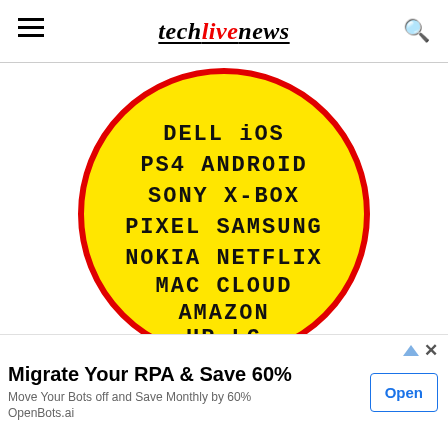techliveNews
[Figure (illustration): Yellow circle with red border containing tech brand names in bold black pixel-style font: DELL, iOS, PS4, ANDROID, SONY, X-BOX, PIXEL, SAMSUNG, NOKIA, NETFLIX, MAC, CLOUD, AMAZON, HP, LG]
Migrate Your RPA & Save 60%
Move Your Bots off and Save Monthly by 60%
OpenBots.ai